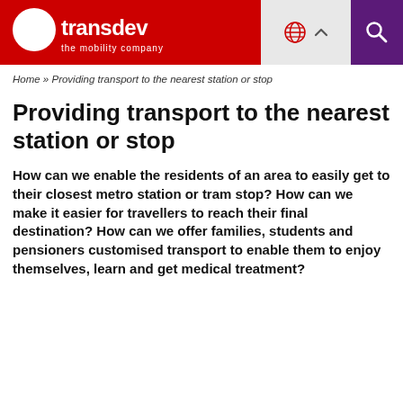Transdev — the mobility company
Home » Providing transport to the nearest station or stop
Providing transport to the nearest station or stop
How can we enable the residents of an area to easily get to their closest metro station or tram stop? How can we make it easier for travellers to reach their final destination? How can we offer families, students and pensioners customised transport to enable them to enjoy themselves, learn and get medical treatment?